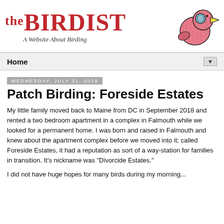[Figure (logo): The Birdist logo with red serif text 'THE BIRDIST' and a cartoon pink bird wearing goggles on the right, subtitle 'A Website About Birding']
Home ▼
Wednesday, July 31, 2019
Patch Birding: Foreside Estates
My little family moved back to Maine from DC in September 2018 and rented a two bedroom apartment in a complex in Falmouth while we looked for a permanent home. I was born and raised in Falmouth and knew about the apartment complex before we moved into it; called Foreside Estates, it had a reputation as sort of a way-station for families in transition. It's nickname was "Divorcide Estates."
I did not have huge hopes for many birds during my morning...